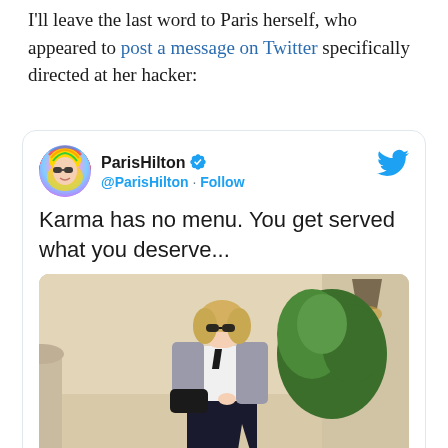I'll leave the last word to Paris herself, who appeared to post a message on Twitter specifically directed at her hacker:
[Figure (screenshot): Screenshot of a Twitter post by Paris Hilton (@ParisHilton) with verified checkmark and Follow button. The tweet reads: 'Karma has no menu. You get served what you deserve...' Below the text is a photo of a blonde woman wearing sunglasses, a grey tweed jacket, white blouse, black tie, and a long black skirt, standing outdoors near a plant and architectural elements.]